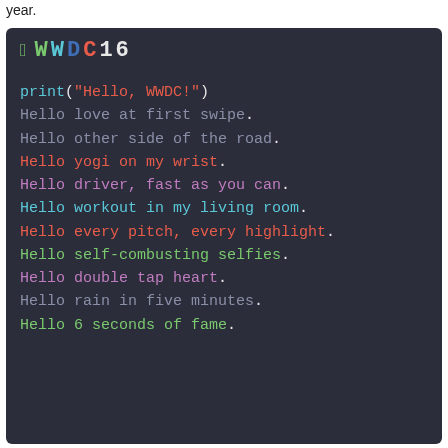year.
[Figure (screenshot): Dark-themed code editor screenshot showing WWDC16 logo header and a series of colorful monospace 'Hello' lines in a Swift print statement style, on a dark navy/charcoal background.]
print("Hello, WWDC!")
Hello love at first swipe.
Hello other side of the road.
Hello yogi on my wrist.
Hello driver, fast as you can.
Hello workout in my living room.
Hello every pitch, every highlight.
Hello self-combusting selfies.
Hello double tap heart.
Hello rain in five minutes.
Hello 6 seconds of fame.